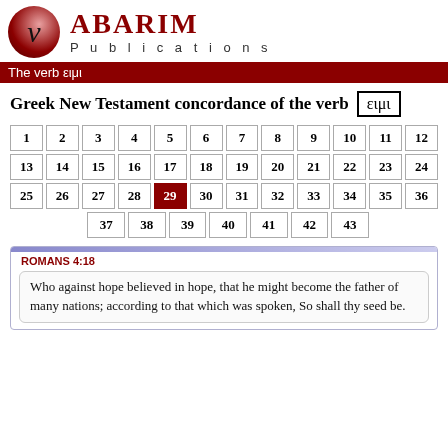[Figure (logo): Abarim Publications logo with Greek nu symbol in a sphere and stylized text]
The verb ειμι
Greek New Testament concordance of the verb ειμι
| 1 | 2 | 3 | 4 | 5 | 6 | 7 | 8 | 9 | 10 | 11 | 12 |
| 13 | 14 | 15 | 16 | 17 | 18 | 19 | 20 | 21 | 22 | 23 | 24 |
| 25 | 26 | 27 | 28 | 29 | 30 | 31 | 32 | 33 | 34 | 35 | 36 |
|  |  | 37 | 38 | 39 | 40 | 41 | 42 | 43 |  |  |  |
ROMANS 4:18
Who against hope believed in hope, that he might become the father of many nations; according to that which was spoken, So shall thy seed be.